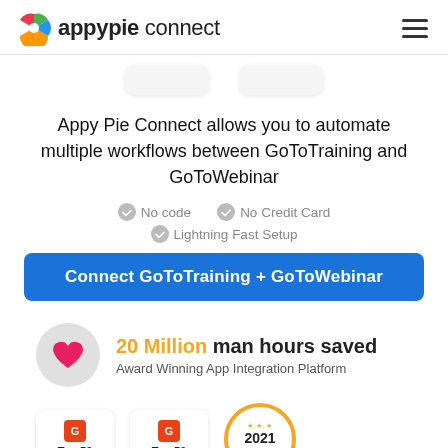appypie connect
[Figure (other): Two rounded rectangle card placeholders side by side]
Appy Pie Connect allows you to automate multiple workflows between GoToTraining and GoToWebinar
No code
No Credit Card
Lightning Fast Setup
Connect GoToTraining + GoToWebinar
20 Million man hours saved
Award Winning App Integration Platform
[Figure (other): Two G2 Top 50 award cards and a 2021 Winner circular badge]